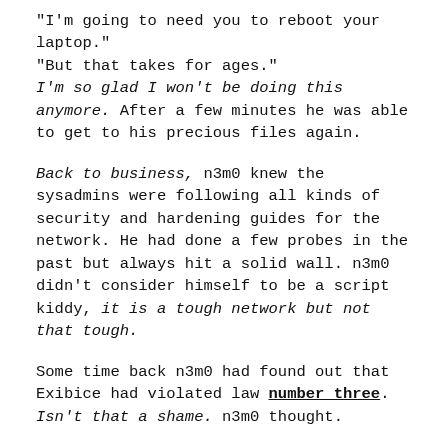"I'm going to need you to reboot your laptop." "But that takes for ages." I'm so glad I won't be doing this anymore. After a few minutes he was able to get to his precious files again.
Back to business, n3m0 knew the sysadmins were following all kinds of security and hardening guides for the network. He had done a few probes in the past but always hit a solid wall. n3m0 didn't consider himself to be a script kiddy, it is a tough network but not that tough.
Some time back n3m0 had found out that Exibice had violated law number three. Isn't that a shame. n3m0 thought.